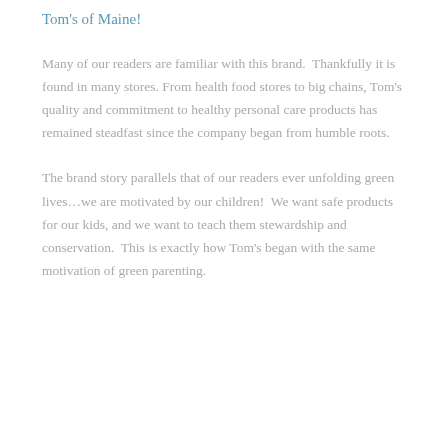Tom's of Maine!
Many of our readers are familiar with this brand. Thankfully it is found in many stores. From health food stores to big chains, Tom's quality and commitment to healthy personal care products has remained steadfast since the company began from humble roots.
The brand story parallels that of our readers ever unfolding green lives…we are motivated by our children! We want safe products for our kids, and we want to teach them stewardship and conservation. This is exactly how Tom's began with the same motivation of green parenting.